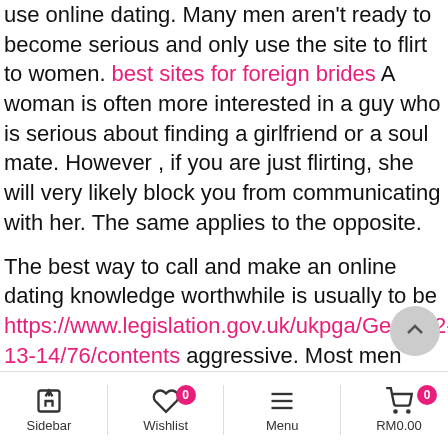use online dating. Many men aren't ready to become serious and only use the site to flirt to women. best sites for foreign brides A woman is often more interested in a guy who is serious about finding a girlfriend or a soul mate. However , if you are just flirting, she will very likely block you from communicating with her. The same applies to the opposite.
The best way to call and make an online dating knowledge worthwhile is usually to be https://www.legislation.gov.uk/ukpga/Geo6/12-13-14/76/contents aggressive. Most men neglect to do the two of these things, and the outcome is that they're merely wasting their particular time. The majority don't speak at all, and believe that the can find all their soul mate instantly. So if you're looking for a serious relationship, consider the risk involved in online dating
Sidebar | Wishlist 0 | Menu | RM0.00 0